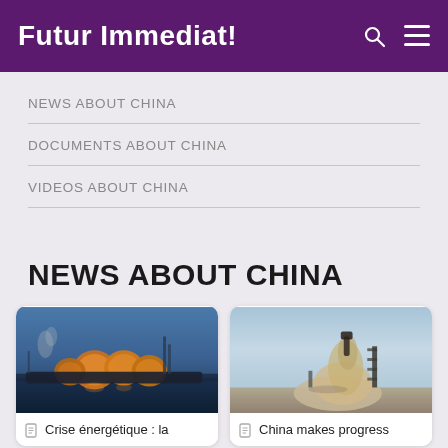Futur Immediat!
NEWS ABOUT CHINA
DOCUMENTS ABOUT CHINA
VIDEOS ABOUT CHINA
NEWS ABOUT CHINA
[Figure (photo): Aerial view of LNG tanker ship at port with large storage tanks lit up at night]
Crise énergétique : la
[Figure (photo): Aerial view of a rocket launch with dust cloud and launch tower at a desert launch site]
China makes progress